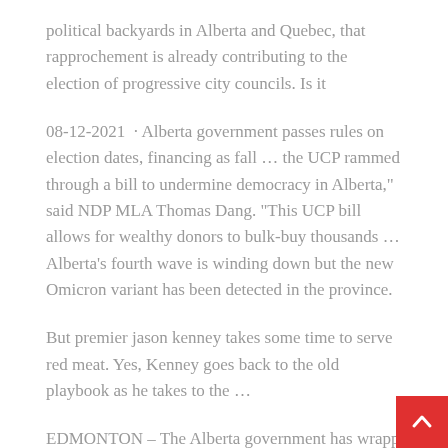political backyards in Alberta and Quebec, that rapprochement is already contributing to the election of progressive city councils. Is it
08-12-2021 · Alberta government passes rules on election dates, financing as fall … the UCP rammed through a bill to undermine democracy in Alberta,” said NDP MLA Thomas Dang. “This UCP bill allows for wealthy donors to bulk-buy thousands … Alberta’s fourth wave is winding down but the new Omicron variant has been detected in the province.
But premier jason kenney takes some time to serve red meat. Yes, Kenney goes back to the old playbook as he takes to the …
EDMONTON – The Alberta government has wrapp